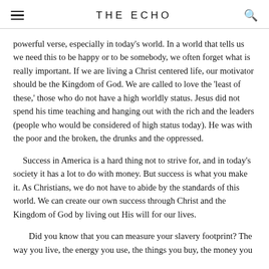THE ECHO
powerful verse, especially in today's world. In a world that tells us we need this to be happy or to be somebody, we often forget what is really important. If we are living a Christ centered life, our motivator should be the Kingdom of God. We are called to love the 'least of these,' those who do not have a high worldly status. Jesus did not spend his time teaching and hanging out with the rich and the leaders (people who would be considered of high status today). He was with the poor and the broken, the drunks and the oppressed.
Success in America is a hard thing not to strive for, and in today's society it has a lot to do with money. But success is what you make it. As Christians, we do not have to abide by the standards of this world. We can create our own success through Christ and the Kingdom of God by living out His will for our lives.
Did you know that you can measure your slavery footprint? The way you live, the energy you use, the things you buy, the money you